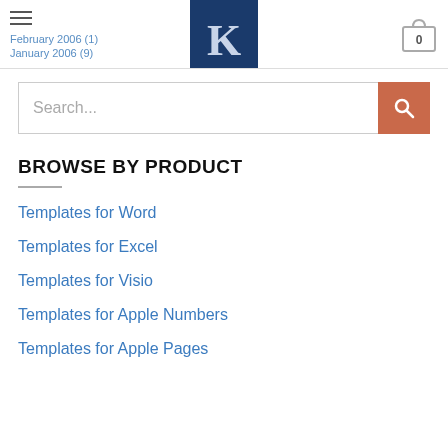February 2006 (1)
January 2006 (9)
[Figure (logo): Blue square logo with white letter K]
[Figure (other): Shopping cart icon with 0]
Search...
BROWSE BY PRODUCT
Templates for Word
Templates for Excel
Templates for Visio
Templates for Apple Numbers
Templates for Apple Pages